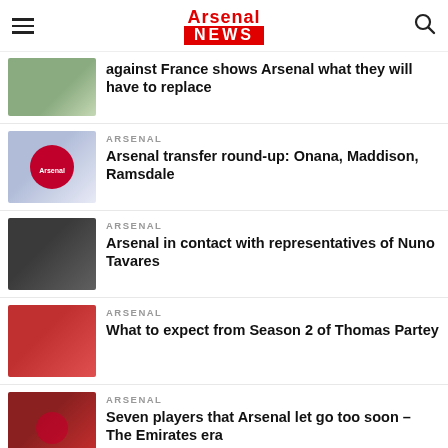Arsenal NEWS
against France shows Arsenal what they will have to replace
ARSENAL
Arsenal transfer round-up: Onana, Maddison, Ramsdale
ARSENAL
Arsenal in contact with representatives of Nuno Tavares
ARSENAL
What to expect from Season 2 of Thomas Partey
ARSENAL
Seven players that Arsenal let go too soon – The Emirates era